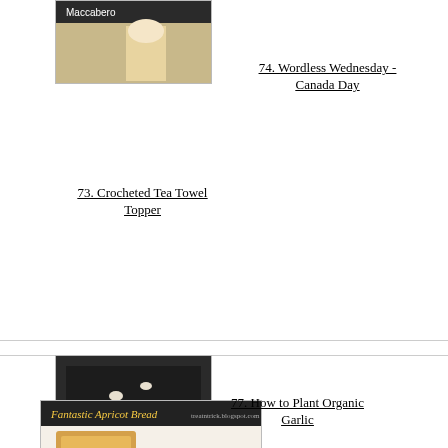[Figure (photo): Partial photo of a person in decorated attire with a text overlay reading 'Maccabero']
[Figure (photo): Photo of sliced Fantastic Apricot Bread with text overlay 'Fantastic Apricot Bread' on a white surface]
74. Wordless Wednesday - Canada Day
73. Crocheted Tea Towel Topper
[Figure (photo): Photo of garlic cloves in dark soil, showing how to plant organic garlic]
77. How to Plant Organic Garlic
78. TREAT & TRICK FANTASTIC APRICOT BREAD